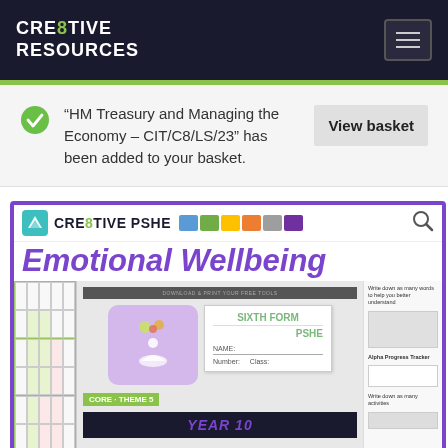CRE8TIVE RESOURCES
“HM Treasury and Managing the Economy – CIT/C8/LS/23” has been added to your basket.
View basket
[Figure (screenshot): CRE8TIVE PSHE product image showing Emotional Wellbeing resource with SIXTH FORM PSHE workbook preview and YEAR 10 label at bottom]